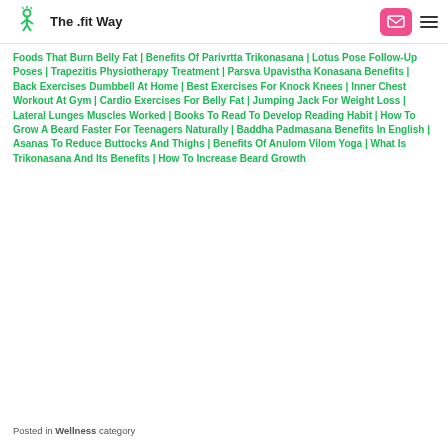The .fit Way
Foods That Burn Belly Fat | Benefits Of Parivrtta Trikonasana | Lotus Pose Follow-Up Poses | Trapezitis Physiotherapy Treatment | Parsva Upavistha Konasana Benefits | Back Exercises Dumbbell At Home | Best Exercises For Knock Knees | Inner Chest Workout At Gym | Cardio Exercises For Belly Fat | Jumping Jack For Weight Loss | Lateral Lunges Muscles Worked | Books To Read To Develop Reading Habit | How To Grow A Beard Faster For Teenagers Naturally | Baddha Padmasana Benefits In English | Asanas To Reduce Buttocks And Thighs | Benefits Of Anulom Vilom Yoga | What Is Trikonasana And Its Benefits | How To Increase Beard Growth
Posted in Wellness category